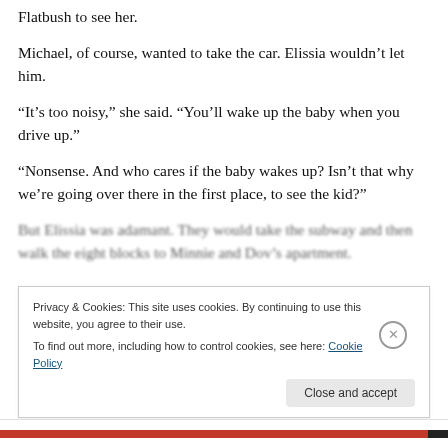Flatbush to see her.
Michael, of course, wanted to take the car.  Elissia wouldn’t let him.
“It’s too noisy,” she said. “You’ll wake up the baby when you drive up.”
“Nonsense.  And who cares if the baby wakes up?  Isn’t that why we’re going over there in the first place, to see the kid?”
But Elissia was adamant.  They would take the subway and then walk the eight blocks to Minnie and Dov’s apartment.
Privacy & Cookies: This site uses cookies. By continuing to use this website, you agree to their use.
To find out more, including how to control cookies, see here: Cookie Policy